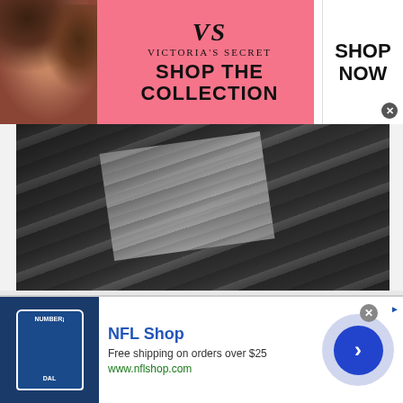[Figure (photo): Victoria's Secret advertisement banner with model, VS logo, 'Shop The Collection' text, and 'Shop Now' button on pink and white background]
[Figure (photo): Close-up photo of damaged asphalt roof shingles, showing lifted and broken dark grey shingles with exposed lighter underlayment]
5 Best Roofing Companies In Ashburn
Roof Restoration | Sponsored Search | Sponsored
[Figure (photo): Partial view of what appears to be a glass or container on a surface, second article thumbnail image]
[Figure (photo): NFL Shop advertisement with Cowboys jersey image, 'NFL Shop' title, 'Free shipping on orders over $25', www.nflshop.com URL, and blue arrow button]